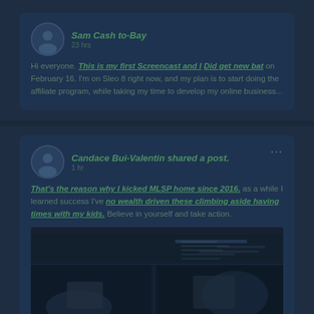Sam Cash to-Bay · 23 hrs
Hi everyone. This is my first Screencast and I Did get new bat on February 16. I'm on Sleo 8 right now, and my plan is to start doing the affiliate program. while taking my time to develop my online business...
Candace Bui-Valentin shared a post. · 1 hr
That's the reason why I kicked MLSP home since 2016. as a while I learned success I've no wealth driven these climbing aside having times with my kids. Believe in yourself and take action.
[Figure (screenshot): Shared post image showing an illustrated or graphical content, dark themed]